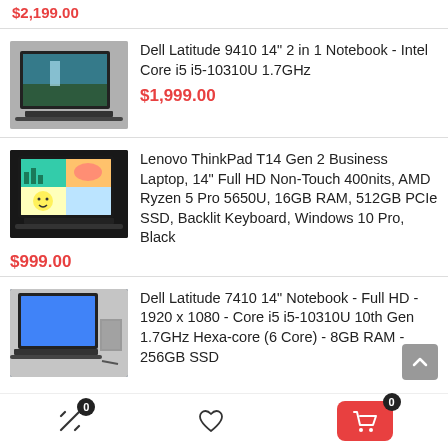$2,199.00
[Figure (photo): Dell Latitude 9410 laptop product photo]
Dell Latitude 9410 14" 2 in 1 Notebook - Intel Core i5 i5-10310U 1.7GHz
$1,999.00
[Figure (photo): Lenovo ThinkPad T14 Gen 2 laptop product photo]
Lenovo ThinkPad T14 Gen 2 Business Laptop, 14" Full HD Non-Touch 400nits, AMD Ryzen 5 Pro 5650U, 16GB RAM, 512GB PCIe SSD, Backlit Keyboard, Windows 10 Pro, Black
$999.00
[Figure (photo): Dell Latitude 7410 laptop product photo]
Dell Latitude 7410 14" Notebook - Full HD - 1920 x 1080 - Core i5 i5-10310U 10th Gen 1.7GHz Hexa-core (6 Core) - 8GB RAM - 256GB SSD